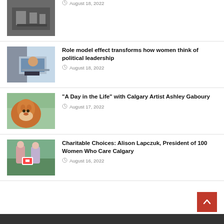[Figure (photo): Black and white historical photo thumbnail]
August 18, 2022
[Figure (photo): Woman working on laptop near window]
Role model effect transforms how women think of political leadership
August 18, 2022
[Figure (photo): Painting of a fox looking upward]
“A Day in the Life” with Calgary Artist Ashley Gaboury
August 17, 2022
[Figure (photo): Two women holding a sign for 100 Women Who Care Calgary]
Charitable Choices: Alison Lapczuk, President of 100 Women Who Care Calgary
August 16, 2022